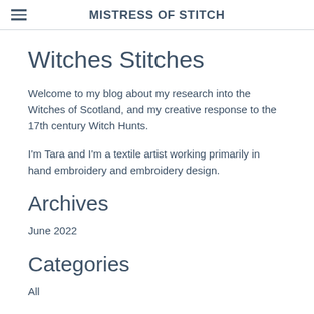MISTRESS OF STITCH
Witches Stitches
Welcome to my blog about my research into the Witches of Scotland, and my creative response to the 17th century Witch Hunts.
I'm Tara and I'm a textile artist working primarily in hand embroidery and embroidery design.
Archives
June 2022
Categories
All